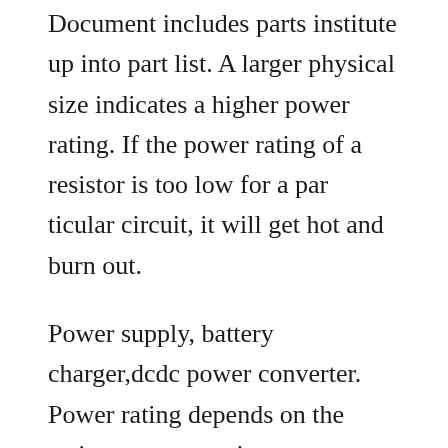Document includes parts institute up into part list. A larger physical size indicates a higher power rating. If the power rating of a resistor is too low for a par ticular circuit, it will get hot and burn out.
Power supply, battery charger,dcdc power converter. Power rating depends on the resistors construction. Isl6558eval2 v12v 500khz, an1044 isl6558 isl6609 isl6609 papstmotoren ap015 c98c99 lfpak footprint an1044 mlfp20 dc to dc buck converter 200a chroma. The resistors datasheet specifies the nominal power dissipation at an